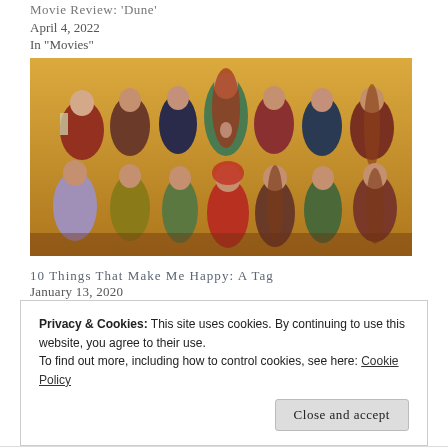Movie Review: 'Dune'
April 4, 2022
In "Movies"
[Figure (illustration): A painting depicting a large group of women and girls in medieval-style robes arranged in two rows, with warm golden-orange background, in a Pre-Raphaelite or folk art style.]
10 Things That Make Me Happy: A Tag
January 13, 2020
Privacy & Cookies: This site uses cookies. By continuing to use this website, you agree to their use.
To find out more, including how to control cookies, see here: Cookie Policy
Close and accept